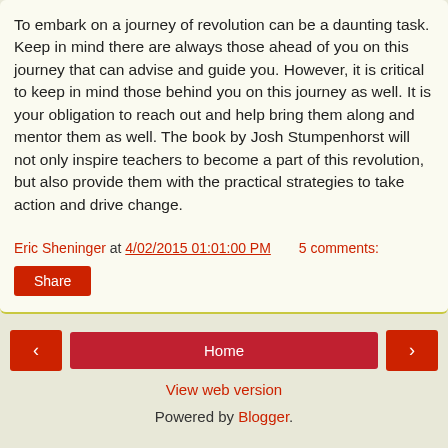To embark on a journey of revolution can be a daunting task. Keep in mind there are always those ahead of you on this journey that can advise and guide you. However, it is critical to keep in mind those behind you on this journey as well. It is your obligation to reach out and help bring them along and mentor them as well. The book by Josh Stumpenhorst will not only inspire teachers to become a part of this revolution, but also provide them with the practical strategies to take action and drive change.
Eric Sheninger at 4/02/2015 01:01:00 PM    5 comments:
Share
< Home > View web version Powered by Blogger.